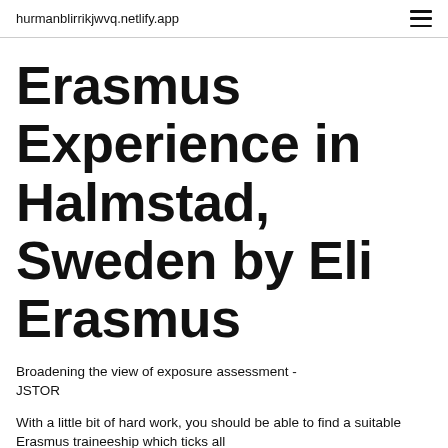hurmanblirrikjwvq.netlify.app
Erasmus Experience in Halmstad, Sweden by Eli Erasmus
Broadening the view of exposure assessment - JSTOR
With a little bit of hard work, you should be able to find a suitable Erasmus traineeship which ticks all